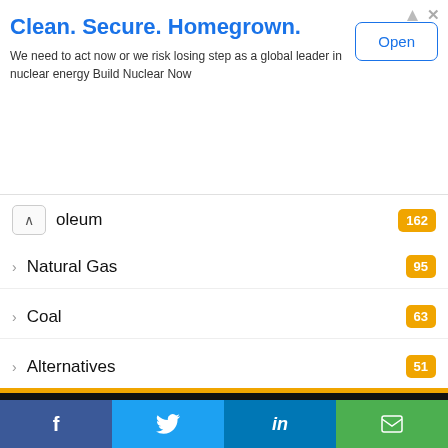[Figure (screenshot): Advertisement banner: 'Clean. Secure. Homegrown.' with Open button]
oleum  162
Natural Gas  95
Coal  63
Alternatives  51
[Figure (logo): FossilFuel.com logo with stylized FF emblem on dark background]
Top Tags
f  (Twitter bird)  in  (email icon) — social share bar